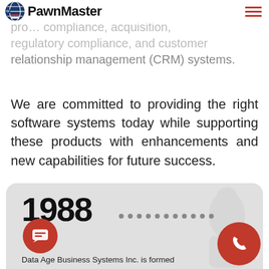PawnMaster
pro... compliance, acquisition, regulatory compliance, and customer relationship management (CRM) systems.
We are committed to providing the right software systems today while supporting these products with enhancements and new capabilities for future success.
1988
Data Age Business Systems Inc. is formed